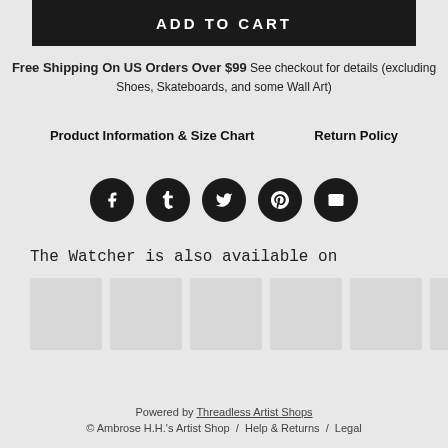ADD TO CART
Free Shipping On US Orders Over $99 See checkout for details (excluding Shoes, Skateboards, and some Wall Art)
Product Information & Size Chart   Return Policy
[Figure (infographic): Five social media share icons (Facebook, Tumblr, Twitter, Pinterest, Email) as dark circular buttons]
The Watcher is also available on
[Figure (photo): Six product thumbnail images in a horizontal row, the last one partially cut off]
Powered by Threadless Artist Shops © Ambrose H.H.'s Artist Shop / Help & Returns / Legal